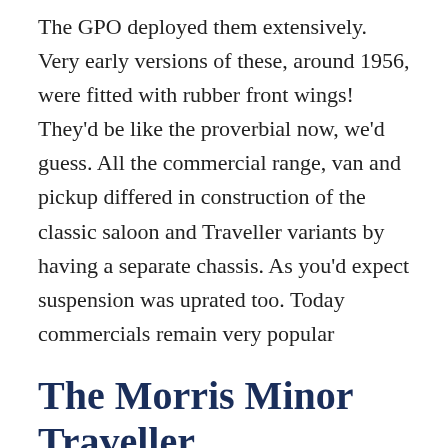The GPO deployed them extensively. Very early versions of these, around 1956, were fitted with rubber front wings! They'd be like the proverbial now, we'd guess. All the commercial range, van and pickup differed in construction of the classic saloon and Traveller variants by having a separate chassis. As you'd expect suspension was uprated too. Today commercials remain very popular
The Morris Minor Traveller
The Traveller was launched in 1953 and it stayed in production until the end in